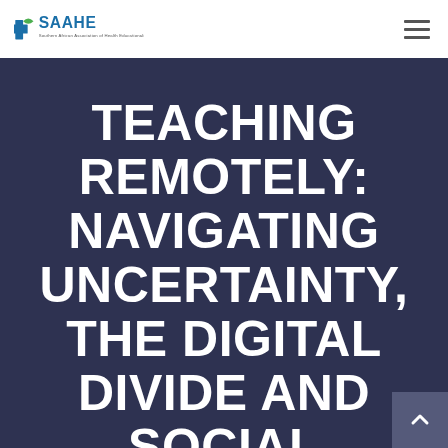SAAHE — Southern African Association of Health Educationalists
TEACHING REMOTELY: NAVIGATING UNCERTAINTY, THE DIGITAL DIVIDE AND SOCIAL JUSTICE IN